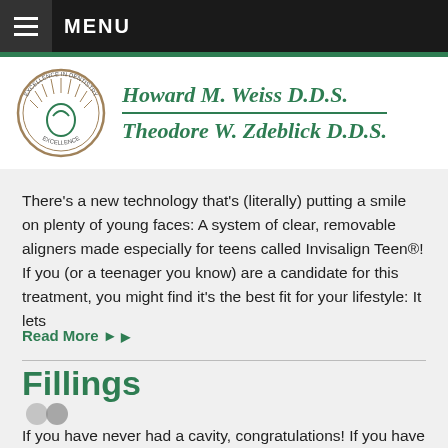MENU
[Figure (logo): Excellence in Dentistry circular logo with figure and radiating lines]
Howard M. Weiss D.D.S. Theodore W. Zdeblick D.D.S.
There's a new technology that's (literally) putting a smile on plenty of young faces: A system of clear, removable aligners made especially for teens called Invisalign Teen®! If you (or a teenager you know) are a candidate for this treatment, you might find it's the best fit for your lifestyle: It lets
Read More ▶
Fillings
If you have never had a cavity, congratulations! If you have